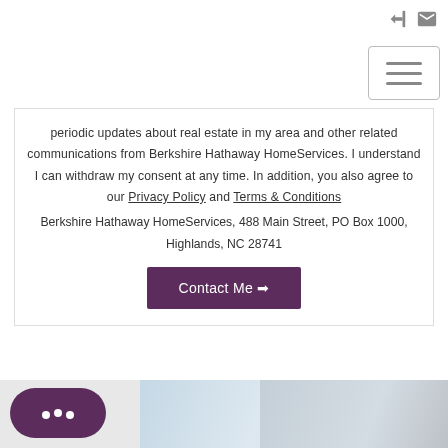Navigation header with login icon, mail icon, and hamburger menu button
periodic updates about real estate in my area and other related communications from Berkshire Hathaway HomeServices. I understand I can withdraw my consent at any time. In addition, you also agree to our Privacy Policy and Terms & Conditions
Berkshire Hathaway HomeServices, 488 Main Street, PO Box 1000, Highlands, NC 28741
Contact Me →
[Figure (screenshot): Bottom strip with purple chat bubble widget and partial image of building/interior]